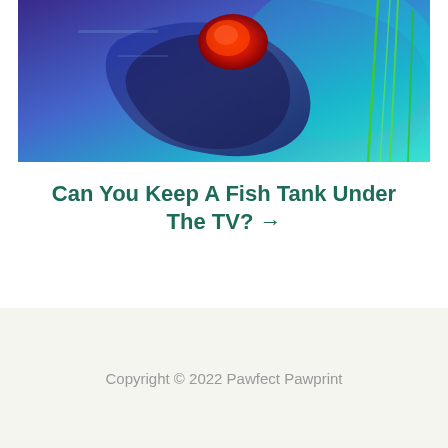[Figure (photo): Close-up photo of a colorful betta or tropical fish in an aquarium with blue and cyan lighting, the fish has red markings, against a blue and teal water background with green aquatic plants.]
Can You Keep A Fish Tank Under The TV? →
Copyright © 2022 Pawfect Pawprint